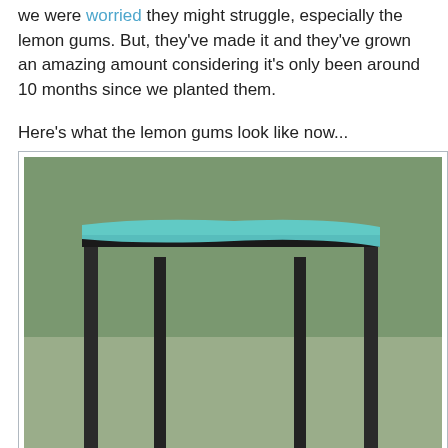we were worried they might struggle, especially the lemon gums. But, they've made it and they've grown an amazing amount considering it's only been around 10 months since we planted them.
Here's what the lemon gums look like now...
[Figure (photo): Photo of a small lemon gum tree with flower-like growth at base, supported by dark metal stakes/frame, with a light blue/turquoise shade cloth or material stretched across the top of the frame. Background shows grass lawn and trees.]
...and just as a reminder, here's what they looked like when we planted them in October 2004. The tree was so small and thin, you could barely see it!